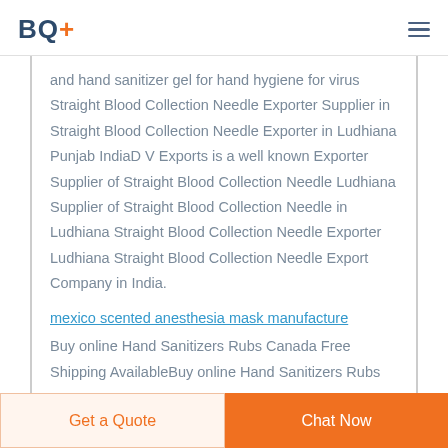BQ+
and hand sanitizer gel for hand hygiene for virus Straight Blood Collection Needle Exporter Supplier in Straight Blood Collection Needle Exporter in Ludhiana Punjab IndiaD V Exports is a well known Exporter Supplier of Straight Blood Collection Needle Ludhiana Supplier of Straight Blood Collection Needle in Ludhiana Straight Blood Collection Needle Exporter Ludhiana Straight Blood Collection Needle Export Company in India.
mexico scented anesthesia mask manufacture
Buy online Hand Sanitizers Rubs Canada Free Shipping AvailableBuy online Hand Sanitizers Rubs